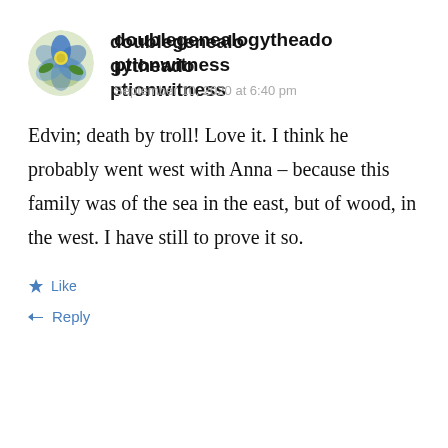[Figure (photo): Circular avatar image showing a blue floral design on a white/green background]
doublegenealogytheadoptionwitness
September 10, 2020 at 6:40 pm
Edvin; death by troll! Love it. I think he probably went west with Anna – because this family was of the sea in the east, but of wood, in the west. I have still to prove it so.
★ Like
↳ Reply